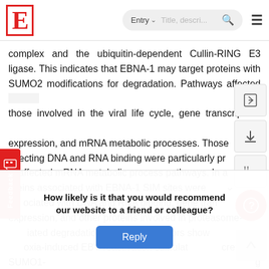E | Entry ∨ Title, descri... 🔍 ≡
complex and the ubiquitin-dependent Cullin-RING E3 ligase. This indicates that EBNA-1 may target proteins with SUMO2 modifications for degradation. Pathways affected include those involved in the viral life cycle, gene transcription, gene expression, and mRNA metabolic processes. Those affecting DNA and RNA binding were particularly prominent in affected mRNA metabolic process pathways. In addition, proteins associated with EBNA-1 SIM sites were particularly associated with DNA and RNA binding, gene transcription expression, and other proteins involved in proteasome-mediated degradation. Lastly, the authors showed that hypoxia-induced EBV reactivation stimulated increase in SUMO1-… … protein 1…, while th… Hypoxia
How likely is it that you would recommend our website to a friend or colleague?
Reply